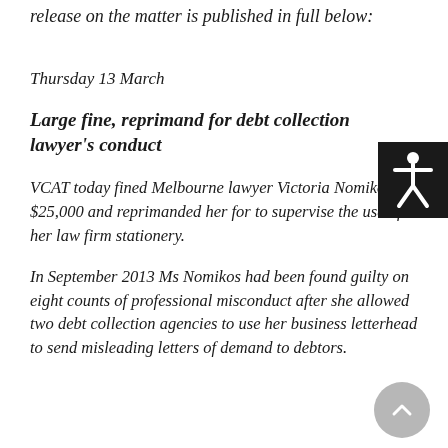The Legal Services Commission's media release on the matter is published in full below:
Thursday 13 March
Large fine, reprimand for debt collection lawyer's conduct
VCAT today fined Melbourne lawyer Victoria Nomikos $25,000 and reprimanded her for to supervise the use of her law firm stationery.
In September 2013 Ms Nomikos had been found guilty on eight counts of professional misconduct after she allowed two debt collection agencies to use her business letterhead to send misleading letters of demand to debtors.